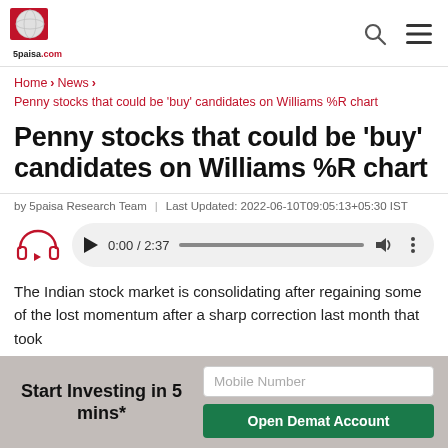[Figure (logo): 5paisa.com logo with red and white design]
Home > News > Penny stocks that could be 'buy' candidates on Williams %R chart
Penny stocks that could be 'buy' candidates on Williams %R chart
by 5paisa Research Team | Last Updated: 2022-06-10T09:05:13+05:30 IST
[Figure (other): Audio player showing 0:00 / 2:37 with play button, progress bar, volume and more icons]
The Indian stock market is consolidating after regaining some of the lost momentum after a sharp correction last month that took
Start Investing in 5 mins*
Mobile Number
Open Demat Account